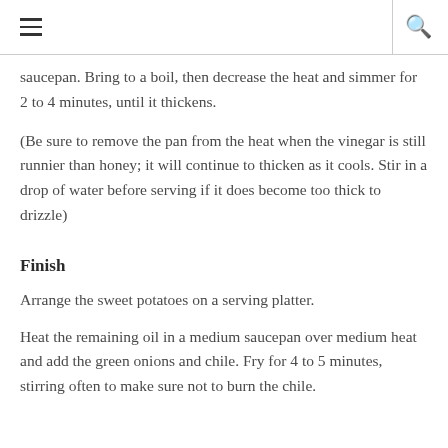≡  🔍
saucepan. Bring to a boil, then decrease the heat and simmer for 2 to 4 minutes, until it thickens.
(Be sure to remove the pan from the heat when the vinegar is still runnier than honey; it will continue to thicken as it cools. Stir in a drop of water before serving if it does become too thick to drizzle)
Finish
Arrange the sweet potatoes on a serving platter.
Heat the remaining oil in a medium saucepan over medium heat and add the green onions and chile. Fry for 4 to 5 minutes, stirring often to make sure not to burn the chile.